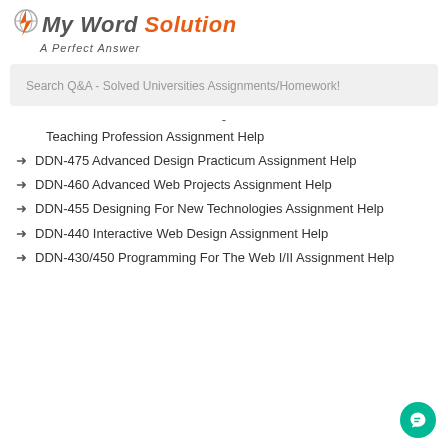[Figure (logo): My Word Solution logo with orange lightning bolt and globe icon, tagline 'A Perfect Answer']
Search Q&A - Solved Universities Assignments/Homework!
-
Teaching Profession Assignment Help
DDN-475 Advanced Design Practicum Assignment Help
DDN-460 Advanced Web Projects Assignment Help
DDN-455 Designing For New Technologies Assignment Help
DDN-440 Interactive Web Design Assignment Help
DDN-430/450 Programming For The Web I/II Assignment Help